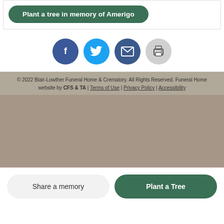Plant a tree in memory of Amerigo
[Figure (infographic): Social share icons: Facebook (dark blue circle with f), Twitter (light blue circle with bird), Email (dark blue circle with envelope), Print (gray circle with printer)]
© 2022 Blair-Lowther Funeral Home & Crematory. All Rights Reserved. Funeral Home website by CFS & TA | Terms of Use | Privacy Policy | Accessibility
Share a memory
Plant a Tree